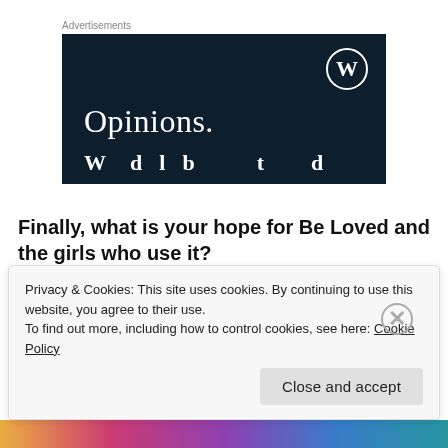Advertisements
[Figure (screenshot): WordPress advertisement banner with dark navy background showing 'Opinions.' text in large serif font and a partial second line, with WordPress logo (W in circle) in top right corner]
Finally, what is your hope for Be Loved and the girls who use it?
Privacy & Cookies: This site uses cookies. By continuing to use this website, you agree to their use.
To find out more, including how to control cookies, see here: Cookie Policy
Close and accept